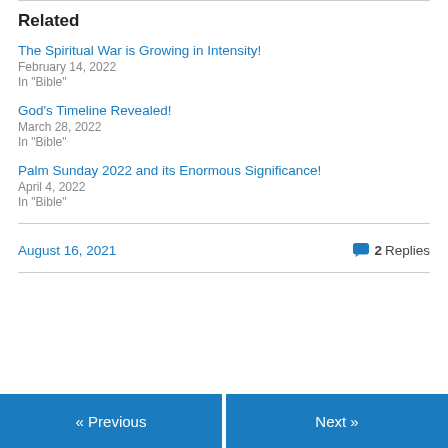Related
The Spiritual War is Growing in Intensity!
February 14, 2022
In "Bible"
God's Timeline Revealed!
March 28, 2022
In "Bible"
Palm Sunday 2022 and its Enormous Significance!
April 4, 2022
In "Bible"
August 16, 2021
2 Replies
« Previous
Next »